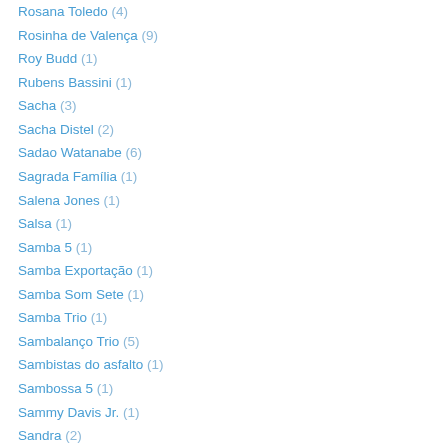Rosana Toledo (4)
Rosinha de Valença (9)
Roy Budd (1)
Rubens Bassini (1)
Sacha (3)
Sacha Distel (2)
Sadao Watanabe (6)
Sagrada Família (1)
Salena Jones (1)
Salsa (1)
Samba 5 (1)
Samba Exportação (1)
Samba Som Sete (1)
Samba Trio (1)
Sambalanço Trio (5)
Sambistas do asfalto (1)
Sambossa 5 (1)
Sammy Davis Jr. (1)
Sandra (2)